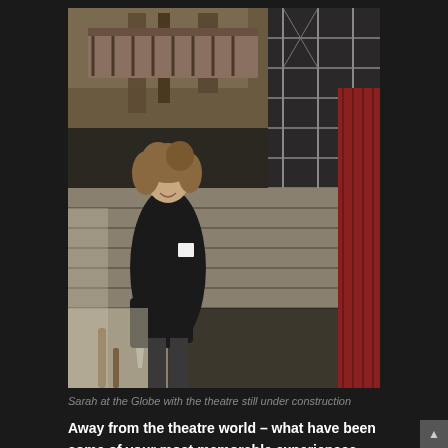[Figure (photo): A woman with curly hair wearing a dark coat stands smiling on the stage of Shakespeare's Globe Theatre while it is still under construction. Wooden scaffolding and the partially built structure are visible in the background. Red fabric or carpeting is visible on the right side.]
Sarah at the Globe with the theatre still under construction
Away from the theatre world – what have been some of your most memorable experiences costuming for TV & film?